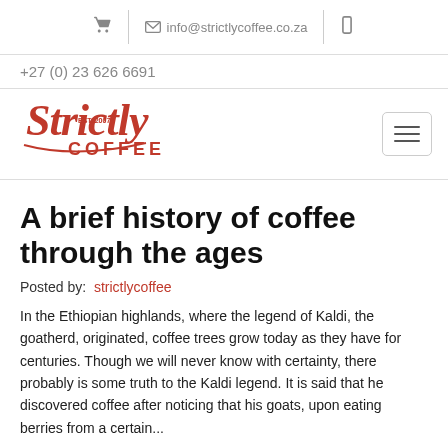info@strictlycoffee.co.za
+27 (0) 23 626 6691
[Figure (logo): Strictly Coffee logo in red cursive script with EST. 2007]
A brief history of coffee through the ages
Posted by: strictlycoffee
In the Ethiopian highlands, where the legend of Kaldi, the goatherd, originated, coffee trees grow today as they have for centuries. Though we will never know with certainty, there probably is some truth to the Kaldi legend. It is said that he discovered coffee after noticing that his goats, upon eating berries from a certain...